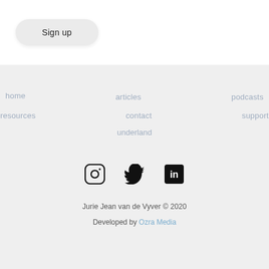Sign up
home
articles
podcasts
resources
contact
support
underland
[Figure (illustration): Social media icons: Instagram, Twitter, LinkedIn]
Jurie Jean van de Vyver © 2020
Developed by Ozra Media